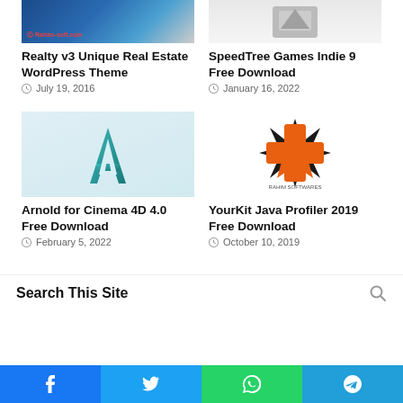[Figure (screenshot): Realty v3 WordPress theme thumbnail showing blue website screenshot with Rahim-soft.com watermark]
Realty v3 Unique Real Estate WordPress Theme
July 19, 2016
[Figure (photo): SpeedTree Games software 3D model/package box image]
SpeedTree Games Indie 9 Free Download
January 16, 2022
[Figure (logo): Arnold for Cinema 4D logo - teal/green letter A logo on light blue background]
Arnold for Cinema 4D 4.0 Free Download
February 5, 2022
[Figure (logo): YourKit Java Profiler logo - orange and black asterisk/star shape with Rahim Softwares watermark]
YourKit Java Profiler 2019 Free Download
October 10, 2019
Search This Site
Facebook | Twitter | WhatsApp | Telegram social share bar